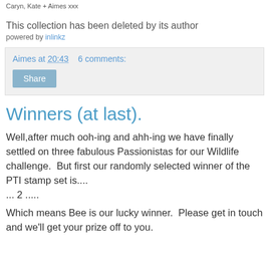Caryn, Kate + Aimes xxx
This collection has been deleted by its author
powered by inlinkz
Aimes at 20:43    6 comments:
Share
Winners (at last).
Well,after much ooh-ing and ahh-ing we have finally settled on three fabulous Passionistas for our Wildlife challenge.  But first our randomly selected winner of the PTI stamp set is....
... 2 .....

Which means Bee is our lucky winner.  Please get in touch and we'll get your prize off to you.